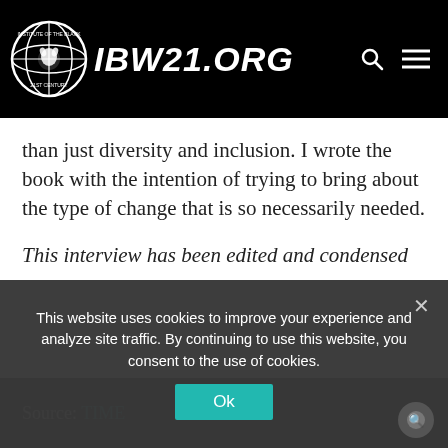IBW21.ORG
than just diversity and inclusion. I wrote the book with the intention of trying to bring about the type of change that is so necessarily needed.
This interview has been edited and condensed
Source: TIME
This website uses cookies to improve your experience and analyze site traffic. By continuing to use this website, you consent to the use of cookies.